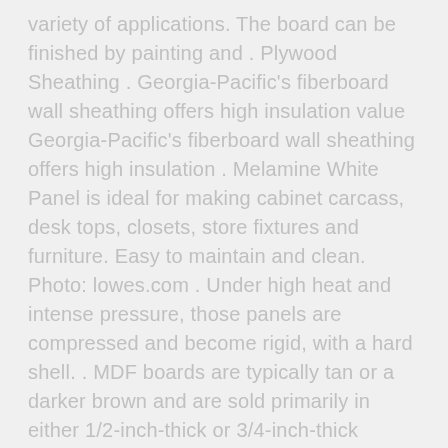variety of applications. The board can be finished by painting and . Plywood Sheathing . Georgia-Pacific's fiberboard wall sheathing offers high insulation value Georgia-Pacific's fiberboard wall sheathing offers high insulation . Melamine White Panel is ideal for making cabinet carcass, desk tops, closets, store fixtures and furniture. Easy to maintain and clean. Photo: lowes.com . Under high heat and intense pressure, those panels are compressed and become rigid, with a hard shell. . MDF boards are typically tan or a darker brown and are sold primarily in either 1/2-inch-thick or 3/4-inch-thick sheets. . Go out of your way to seal off your work area, cover any immovable items .